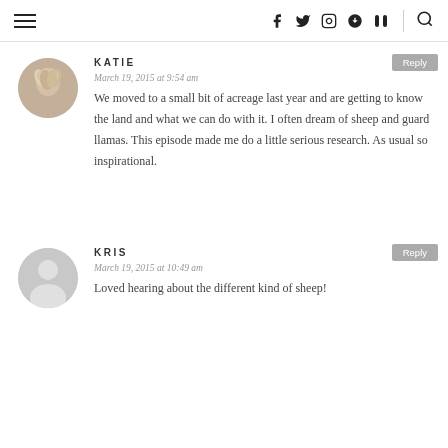≡  f  t  ☷  ⊕  )))  🔍
[Figure (photo): Circular avatar photo of Katie with blonde wavy hair]
KATIE
Reply
March 19, 2015 at 9:54 am
We moved to a small bit of acreage last year and are getting to know the land and what we can do with it. I often dream of sheep and guard llamas. This episode made me do a little serious research. As usual so inspirational.
[Figure (photo): Circular generic avatar silhouette for Kris]
KRIS
Reply
March 19, 2015 at 10:49 am
Loved hearing about the different kind of sheep!